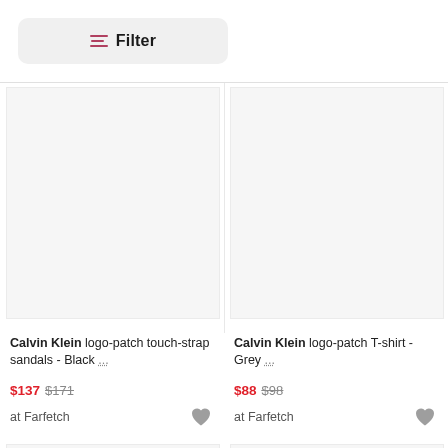Filter
[Figure (screenshot): Product image placeholder (light grey box) for Calvin Klein logo-patch touch-strap sandals]
Calvin Klein logo-patch touch-strap sandals - Black ...
$137 $171
at Farfetch
[Figure (screenshot): Product image placeholder (light grey box) for Calvin Klein logo-patch T-shirt]
Calvin Klein logo-patch T-shirt - Grey ...
$88 $98
at Farfetch